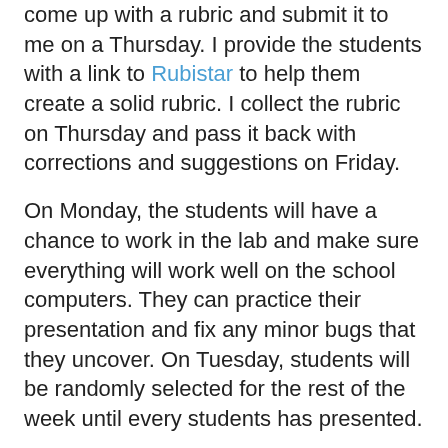come up with a rubric and submit it to me on a Thursday. I provide the students with a link to Rubistar to help them create a solid rubric. I collect the rubric on Thursday and pass it back with corrections and suggestions on Friday.
On Monday, the students will have a chance to work in the lab and make sure everything will work well on the school computers. They can practice their presentation and fix any minor bugs that they uncover. On Tuesday, students will be randomly selected for the rest of the week until every students has presented.
The late idea I had on Friday was to have students provide feedback on the projects. I have used Wallwisher with the students in the past and they are comfortable with it. I created around 90 Wallwishers and placed them on my school website. Students in each class can go to this website and click on the name of the student presenting and leave constructive feedback on the presentation. I'm not worried about jerky students because I have them pretty well trained on proper computer use. I also threatened them with total point loss for everyone if one person breaks the rule. Hey, it works.